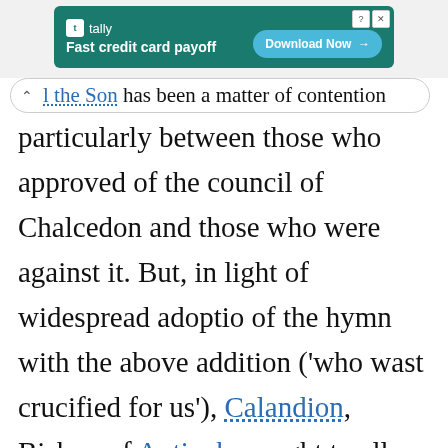[Figure (screenshot): Advertisement banner for Tally app: 'Fast credit card payoff' with a Download Now button on a teal background.]
l the Son has been a matter of contention particularly between those who approved of the council of Chalcedon and those who were against it. But, in light of widespread adoption of the hymn with the above addition ('who wast crucified for us'), Calandion, Bishop of Antioch, sought to allay the controversy surrounding it by prefixing the words 'Christ King'. This had the effect of making the hym